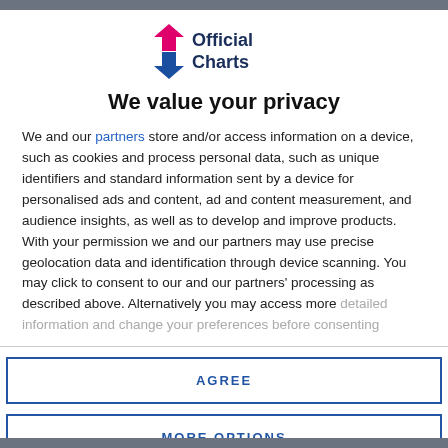[Figure (logo): Official Charts logo with pink upward arrow and blue downward arrow icon, 'Official Charts' text in dark navy]
We value your privacy
We and our partners store and/or access information on a device, such as cookies and process personal data, such as unique identifiers and standard information sent by a device for personalised ads and content, ad and content measurement, and audience insights, as well as to develop and improve products. With your permission we and our partners may use precise geolocation data and identification through device scanning. You may click to consent to our and our partners' processing as described above. Alternatively you may access more detailed information and change your preferences before consenting
AGREE
MORE OPTIONS